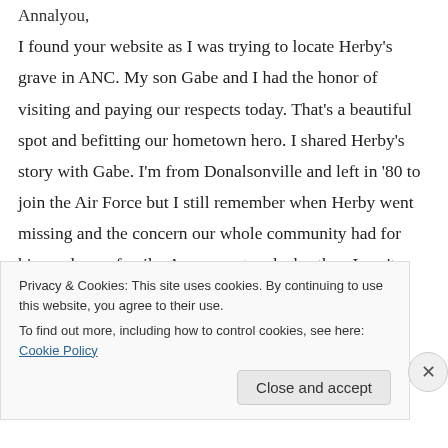I found your website as I was trying to locate Herby's grave in ANC. My son Gabe and I had the honor of visiting and paying our respects today. That's a beautiful spot and befitting our hometown hero. I shared Herby's story with Gabe. I'm from Donalsonville and left in '80 to join the Air Force but I still remember when Herby went missing and the concern our whole community had for him and your family. As a parent and a brother, I can't imagine what you
Privacy & Cookies: This site uses cookies. By continuing to use this website, you agree to their use. To find out more, including how to control cookies, see here: Cookie Policy